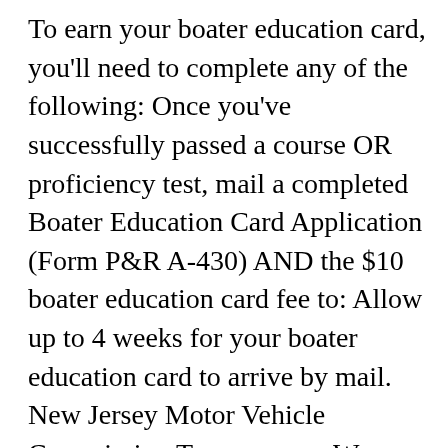To earn your boater education card, you'll need to complete any of the following: Once you've successfully passed a course OR proficiency test, mail a completed Boater Education Card Application (Form P&R A-430) AND the $10 boater education card fee to: Allow up to 4 weeks for your boater education card to arrive by mail. New Jersey Motor Vehicle Commission Temporary ... We accept cash, checks, and credit cards.To register your new or untitled watercraft, you will need to follow the steps below. Loved the ease in placing the order online. In addition to the operational changes at Texas State Parks, TPWD law enforcement and boat registration